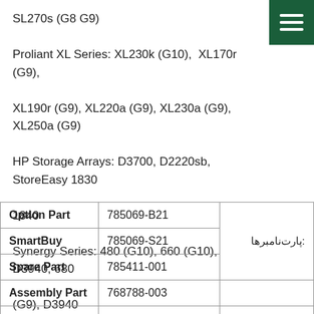SL270s (G8 G9)
Proliant XL Series: XL230k (G10), XL170r (G9), XL190r (G9), XL220a (G9), XL230a (G9), XL250a (G9)
HP Storage Arrays: D3700, D2220sb, StoreEasy 1830
1840
Synergy Series: 480 (G10), 660 (G10), D3940, 680 (G9), D3940
|  |  | پارت‌نامبرها: |
| --- | --- | --- |
| Option Part | 785069-B21 |  |
| SmartBuy | 785069-S21 |  |
| Spare Part | 785411-001 |  |
| Assembly Part | 768788-003 |  |
| Model | EG0900JEHMB |  |
| Category | Proliant
HardDrive | ↑ |